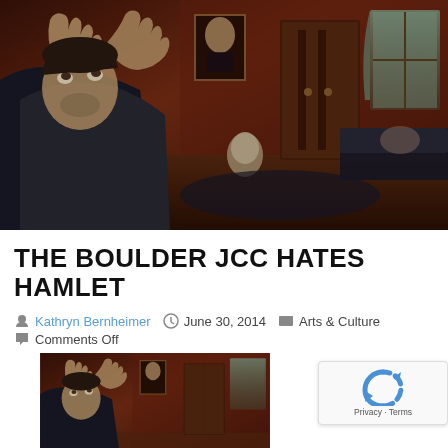[Figure (photo): Theatrical/dramatic composite image showing a distressed man with hands raised to face on left, set against a dark Victorian room interior with antique furniture, portraits, and a window on right.]
THE BOULDER JCC HATES HAMLET
Kathryn Bernheimer   June 30, 2014   Arts & Culture
Comments Off
[Figure (photo): Smaller version of the same theatrical composite image showing distressed man against Victorian room interior.]
Was H... Jewish?